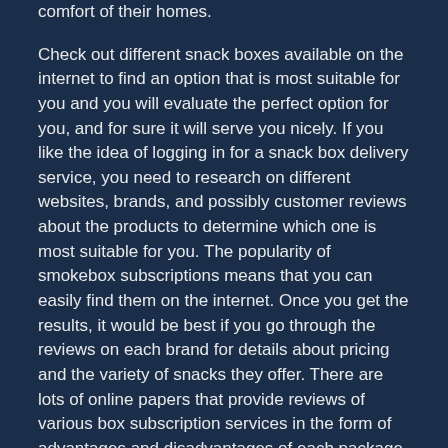comfort of their homes.
Check out different snack boxes available on the internet to find an option that is most suitable for you and you will evaluate the perfect option for you, and for sure it will serve you nicely. If you like the idea of logging in for a snack box delivery service, you need to research on different websites, brands, and possibly customer reviews about the products to determine which one is most suitable for you. The popularity of smokebox subscriptions means that you can easily find them on the internet. Once you get the results, it would be best if you go through the reviews on each brand for details about pricing and the variety of snacks they offer. There are lots of online papers that provide reviews of various box subscription services in the form of advantages and disadvantages of each package. From this, you can determine which services are most suitable for your preferences.
If You Think You Understand , Then Read This